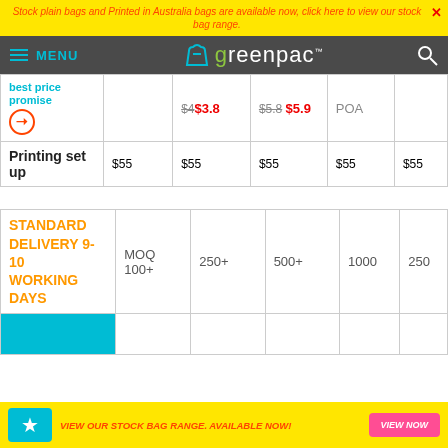Stock plain bags and Printed in Australia bags are available now, click here to view our stock bag range.
[Figure (logo): Greenpac website navigation bar with hamburger menu, teal lines, MENU text, greenpac logo with shopping bag icon, and search icon]
|  |  | Price |  | POA |  |
| --- | --- | --- | --- | --- | --- |
| best price promise |  | $4 $3.8 | $5.8 $5.9 | POA |  |
| Printing set up | $55 | $55 | $55 | $55 | $55 |
|  | MOQ 100+ | 250+ | 500+ | 1000 | 250 |
| --- | --- | --- | --- | --- | --- |
| STANDARD DELIVERY 9-10 WORKING DAYS | MOQ 100+ | 250+ | 500+ | 1000 | 250 |
VIEW OUR STOCK BAG RANGE. AVAILABLE NOW!